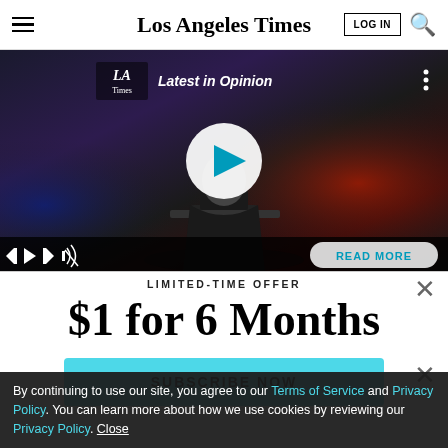Los Angeles Times
[Figure (screenshot): Video player showing a speaker at a podium, with LA Times 'Latest in Opinion' overlay, play button, video controls, and READ MORE button]
LIMITED-TIME OFFER
$1 for 6 Months
SUBSCRIBE NOW
By continuing to use our site, you agree to our Terms of Service and Privacy Policy. You can learn more about how we use cookies by reviewing our Privacy Policy. Close